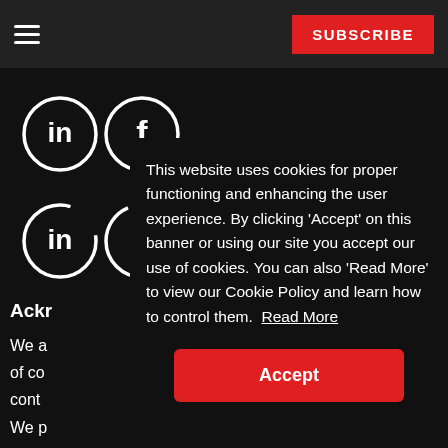SUBSCRIBE
[Figure (illustration): LinkedIn and Facebook social media icons (circular, white on black) displayed in two rows]
Ackr
We a of co cont We p elde
This website uses cookies for proper functioning and enhancing the user experience. By clicking ‘Accept’ on this banner or using our site you accept our use of cookies. You can also ‘Read More’ to view our Cookie Policy and learn how to control them. Read More
Accept